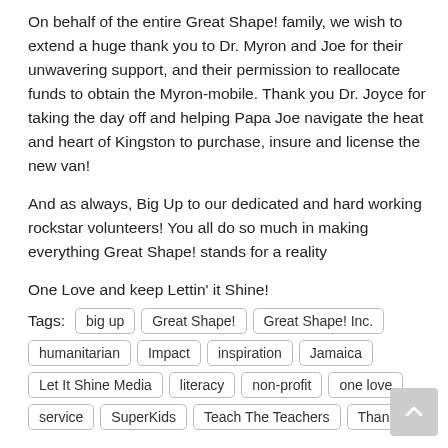On behalf of the entire Great Shape! family, we wish to extend a huge thank you to Dr. Myron and Joe for their unwavering support, and their permission to reallocate funds to obtain the Myron-mobile. Thank you Dr. Joyce for taking the day off and helping Papa Joe navigate the heat and heart of Kingston to purchase, insure and license the new van!
And as always, Big Up to our dedicated and hard working rockstar volunteers! You all do so much in making everything Great Shape! stands for a reality
One Love and keep Lettin' it Shine!
Tags: big up | Great Shape! | Great Shape! Inc. | humanitarian | Impact | inspiration | Jamaica | Let It Shine Media | literacy | non-profit | one love | service | SuperKids | Teach The Teachers | Thank You